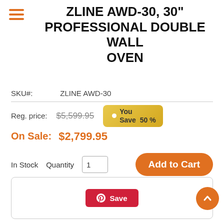ZLINE AWD-30, 30" PROFESSIONAL DOUBLE WALL OVEN
SKU#: ZLINE AWD-30
Reg. price: $5,599.95 You Save 50%
On Sale: $2,799.95
In Stock  Quantity 1  Add to Cart
FREE SHIPPING
[Figure (other): Bottom Pinterest Save button region inside a rounded border box]